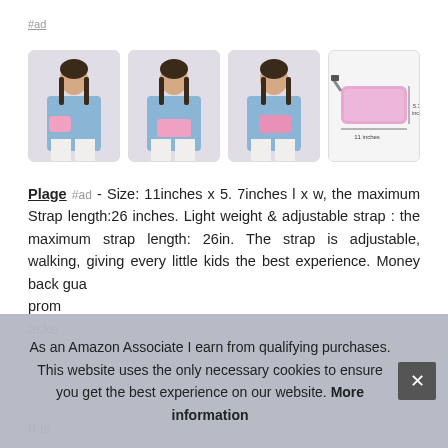#ad
[Figure (photo): Four thumbnail images of a girl wearing a pink sequin fanny pack/waist bag, plus a product-only image showing the bag with dimension labels.]
Plage #ad - Size: 11inches x 5. 7inches l x w, the maximum Strap length:26 inches. Light weight & adjustable strap : the maximum strap length: 26in. The strap is adjustable, walking, giving every little kids the best experience. Money back gua... prom... aske...
It is
As an Amazon Associate I earn from qualifying purchases. This website uses the only necessary cookies to ensure you get the best experience on our website. More information